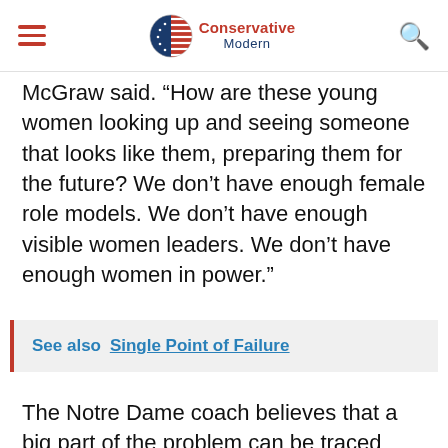Conservative Modern
McGraw said. “How are these young women looking up and seeing someone that looks like them, preparing them for the future? We don’t have enough female role models. We don’t have enough visible women leaders. We don’t have enough women in power.”
See also  Single Point of Failure
The Notre Dame coach believes that a big part of the problem can be traced